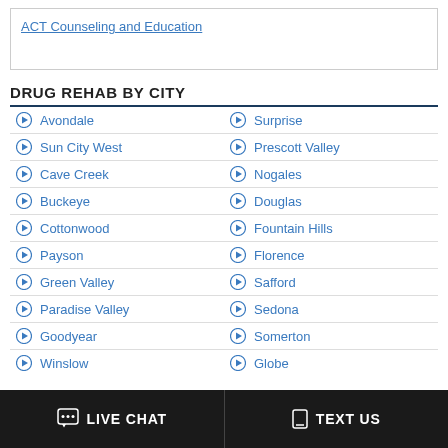ACT Counseling and Education
DRUG REHAB BY CITY
Avondale
Surprise
Sun City West
Prescott Valley
Cave Creek
Nogales
Buckeye
Douglas
Cottonwood
Fountain Hills
Payson
Florence
Green Valley
Safford
Paradise Valley
Sedona
Goodyear
Somerton
Winslow
Globe
LIVE CHAT | TEXT US